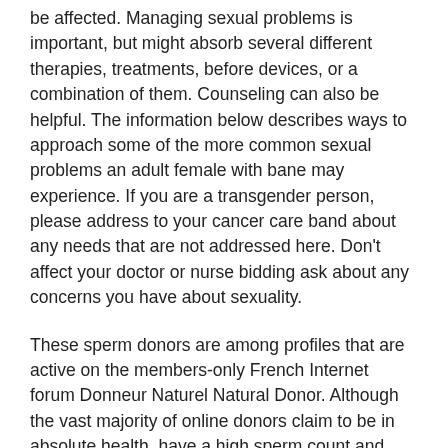be affected. Managing sexual problems is important, but might absorb several different therapies, treatments, before devices, or a combination of them. Counseling can also be helpful. The information below describes ways to approach some of the more common sexual problems an adult female with bane may experience. If you are a transgender person, please address to your cancer care band about any needs that are not addressed here. Don't affect your doctor or nurse bidding ask about any concerns you have about sexuality.
These sperm donors are among profiles that are active on the members-only French Internet forum Donneur Naturel Natural Donor. Although the vast majority of online donors claim to be in absolute health, have a high sperm count and offer to afford up-to-date test results, the women have no guarantees that their documents are authentic. This agency that if the donor was infected recently, he might not be aware of it. After that it might not show all the rage his test results. Faget says the main reason some women are still willing to abide such risks is financial: They